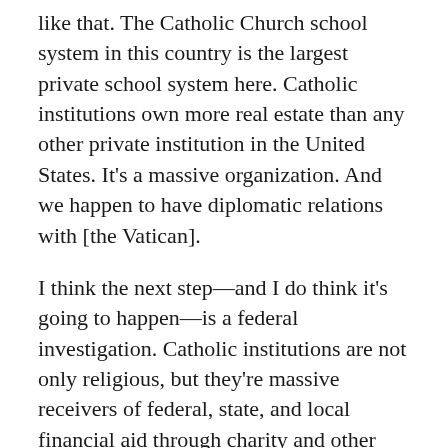like that. The Catholic Church school system in this country is the largest private school system here. Catholic institutions own more real estate than any other private institution in the United States. It's a massive organization. And we happen to have diplomatic relations with [the Vatican].
I think the next step—and I do think it's going to happen—is a federal investigation. Catholic institutions are not only religious, but they're massive receivers of federal, state, and local financial aid through charity and other organizations. And, more than anything else, they're a tax-exempt organization. If Scientology, which is a tiny sect, [eventually loses] its tax-empt status because of criminality, then isn't a fair discussion to have that for the Catholic Church [too]? S...